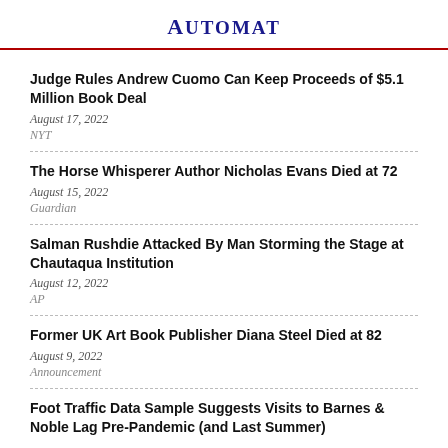Automat
Judge Rules Andrew Cuomo Can Keep Proceeds of $5.1 Million Book Deal
August 17, 2022
NYT
The Horse Whisperer Author Nicholas Evans Died at 72
August 15, 2022
Guardian
Salman Rushdie Attacked By Man Storming the Stage at Chautaqua Institution
August 12, 2022
AP
Former UK Art Book Publisher Diana Steel Died at 82
August 9, 2022
Announcement
Foot Traffic Data Sample Suggests Visits to Barnes & Noble Lag Pre-Pandemic (and Last Summer)